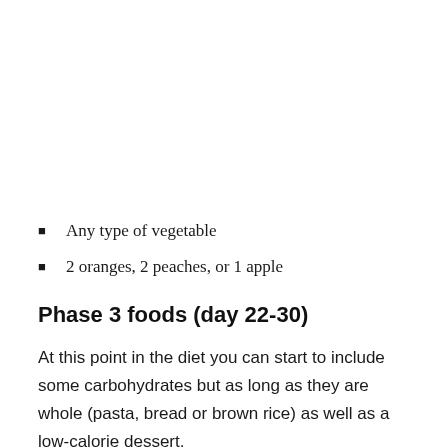Any type of vegetable
2 oranges, 2 peaches, or 1 apple
Phase 3 foods (day 22-30)
At this point in the diet you can start to include some carbohydrates but as long as they are whole (pasta, bread or brown rice) as well as a low-calorie dessert.
Pros and cons of the ketogenic diet